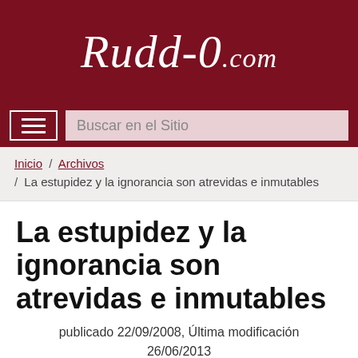Rudd-0.com
Buscar en el Sitio
Inicio / Archivos / La estupidez y la ignorancia son atrevidas e inmutables
La estupidez y la ignorancia son atrevidas e inmutables
publicado 22/09/2008, Última modificación 26/06/2013